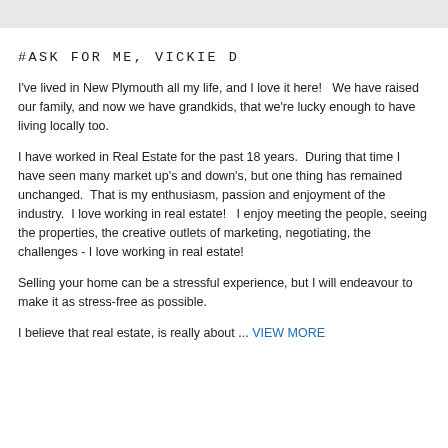#ASK FOR ME, VICKIE D
I've lived in New Plymouth all my life, and I love it here!   We have raised our family, and now we have grandkids, that we're lucky enough to have living locally too.
I have worked in Real Estate for the past 18 years.  During that time I have seen many market up's and down's, but one thing has remained unchanged.  That is my enthusiasm, passion and enjoyment of the industry.  I love working in real estate!   I enjoy meeting the people, seeing the properties, the creative outlets of marketing, negotiating, the challenges - I love working in real estate!
Selling your home can be a stressful experience, but I will endeavour to make it as stress-free as possible.
I believe that real estate, is really about ... VIEW MORE